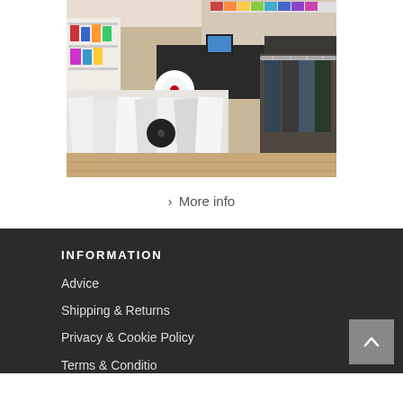[Figure (photo): Interior of a music/record store showing vinyl records in sleeves displayed in browsing bins, clothing on hanging racks, shelves with various merchandise, and colorful display items in the background.]
› More info
INFORMATION
Advice
Shipping & Returns
Privacy & Cookie Policy
Terms & Conditio...